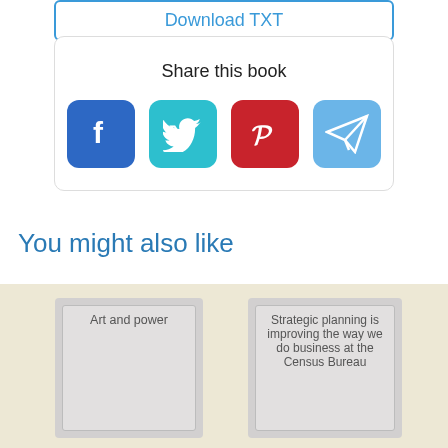[Figure (screenshot): Download TXT button — a rectangular button with teal/blue border and teal text reading 'Download TXT']
Share this book
[Figure (infographic): Four social media share icons: Facebook (blue), Twitter (teal), Pinterest (red), Telegram (light blue)]
You might also like
[Figure (illustration): Book card thumbnail with title 'Art and power']
[Figure (illustration): Book card thumbnail with title 'Strategic planning is improving the way we do business at the Census Bureau']